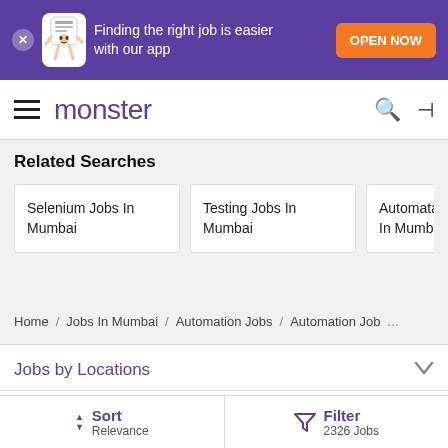[Figure (screenshot): Monster job portal app promotion banner with purple background, mascot, and orange OPEN NOW button]
[Figure (logo): Monster logo with hamburger menu, search and login icons in navigation bar]
Related Searches
Selenium Jobs In Mumbai
Testing Jobs In Mumbai
Automatation Jobs In Mumbai
Home / Jobs In Mumbai / Automation Jobs / Automation Job ...
Jobs by Locations
Jobs by Skill – IT
Sort Relevance
Filter 2326 Jobs